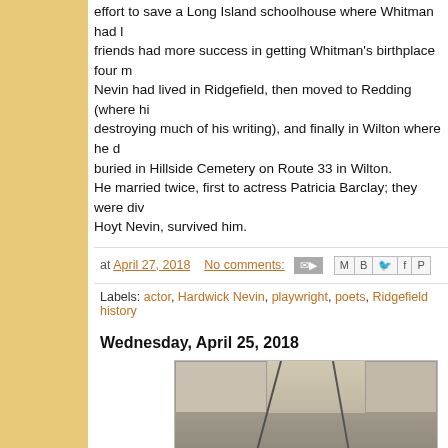effort to save a Long Island schoolhouse where Whitman had lived. His friends had more success in getting Whitman's birthplace four m... Nevin had lived in Ridgefield, then moved to Redding (where hi... destroying much of his writing), and finally in Wilton where he d... buried in Hillside Cemetery on Route 33 in Wilton. He married twice, first to actress Patricia Barclay; they were div... Hoyt Nevin, survived him.
at April 27, 2018   No comments:
Labels: actor, Hardwick Nevin, playwright, poets, Ridgefield history
Wednesday, April 25, 2018
[Figure (photo): Black and white photograph showing people seated in what appears to be a meeting or gathering, with microphone stands visible]